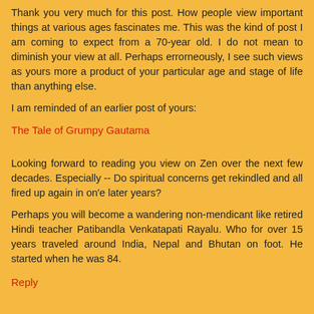Thank you very much for this post. How people view important things at various ages fascinates me. This was the kind of post I am coming to expect from a 70-year old. I do not mean to diminish your view at all. Perhaps errorneously, I see such views as yours more a product of your particular age and stage of life than anything else.
I am reminded of an earlier post of yours:
The Tale of Grumpy Gautama
Looking forward to reading you view on Zen over the next few decades. Especially -- Do spiritual concerns get rekindled and all fired up again in on'e later years?
Perhaps you will become a wandering non-mendicant like retired Hindi teacher Patibandla Venkatapati Rayalu. Who for over 15 years traveled around India, Nepal and Bhutan on foot. He started when he was 84.
Reply